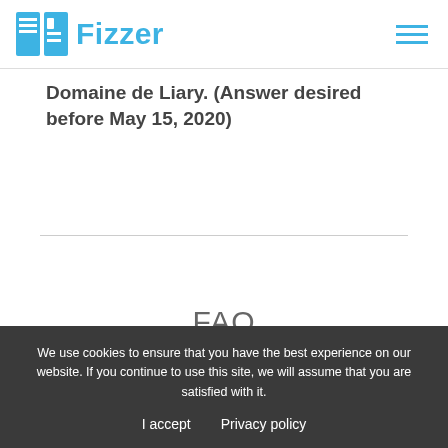Fizzer
Domaine de Liary. (Answer desired before May 15, 2020)
FAQ
We use cookies to ensure that you have the best experience on our website. If you continue to use this site, we will assume that you are satisfied with it.
I accept   Privacy policy